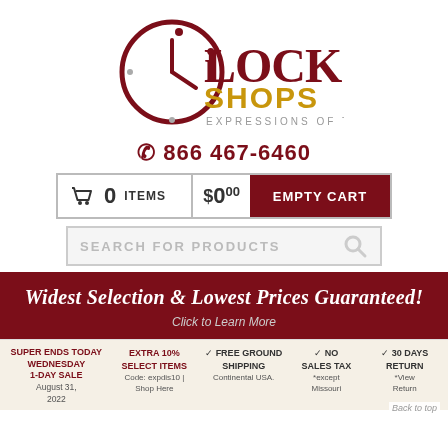[Figure (logo): Clock Shops logo — circular clock graphic with 'LOCK SHOPS' text and tagline 'EXPRESSIONS OF TIME']
866 467-6460
[Figure (infographic): Shopping cart bar showing 0 ITEMS $0.00 and EMPTY CART button]
[Figure (infographic): Search bar reading SEARCH FOR PRODUCTS with magnifying glass icon]
Widest Selection & Lowest Prices Guaranteed!
Click to Learn More
SUPER ENDS TODAY WEDNESDAY 1-DAY SALE | August 31, 2022 | EXTRA 10% SELECT ITEMS Code: expdis10 | Shop Here | FREE GROUND SHIPPING Continental USA. | NO SALES TAX *except Missouri | 30 DAYS RETURN *View Return